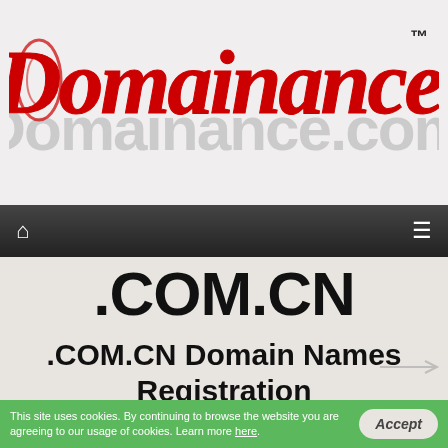[Figure (logo): Domainance logo — red gothic script 'Domainance' with TM mark, and grey text 'Domainance.com' behind it, on a light grey background]
Home | Menu
.COM.CN
.COM.CN Domain Names Registration
This site uses cookies. By continuing to browse the website you are agreeing to our usage of cookies. Learn more here.